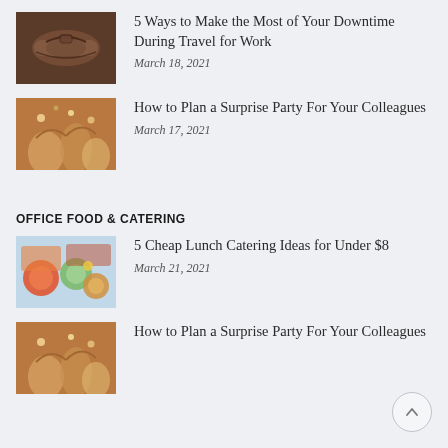[Figure (photo): Dark brown leather travel bag/duffel on a surface]
5 Ways to Make the Most of Your Downtime During Travel for Work
March 18, 2021
[Figure (photo): Hands raised in celebration with confetti and party items]
How to Plan a Surprise Party For Your Colleagues
March 17, 2021
OFFICE FOOD & CATERING
[Figure (photo): Various lunch catering dishes with salads and sauces on a table]
5 Cheap Lunch Catering Ideas for Under $8
March 21, 2021
[Figure (photo): Hands raised in celebration with confetti and party items]
How to Plan a Surprise Party For Your Colleagues